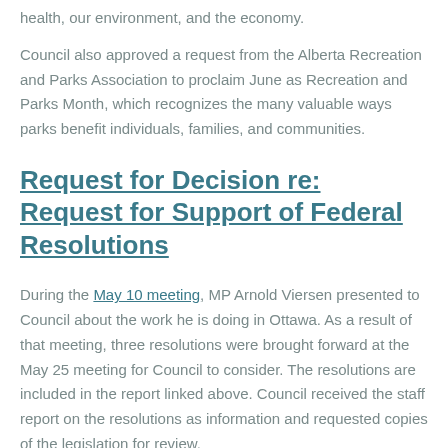health, our environment, and the economy.
Council also approved a request from the Alberta Recreation and Parks Association to proclaim June as Recreation and Parks Month, which recognizes the many valuable ways parks benefit individuals, families, and communities.
Request for Decision re: Request for Support of Federal Resolutions
During the May 10 meeting, MP Arnold Viersen presented to Council about the work he is doing in Ottawa. As a result of that meeting, three resolutions were brought forward at the May 25 meeting for Council to consider. The resolutions are included in the report linked above. Council received the staff report on the resolutions as information and requested copies of the legislation for review.